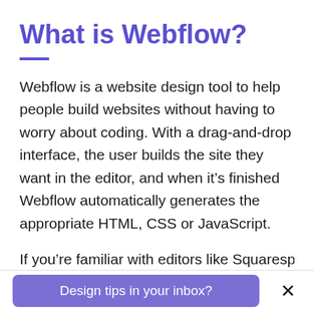What is Webflow?
Webflow is a website design tool to help people build websites without having to worry about coding. With a drag-and-drop interface, the user builds the site they want in the editor, and when it’s finished Webflow automatically generates the appropriate HTML, CSS or JavaScript.
If you’re familiar with editors like Squarespace
Design tips in your inbox?